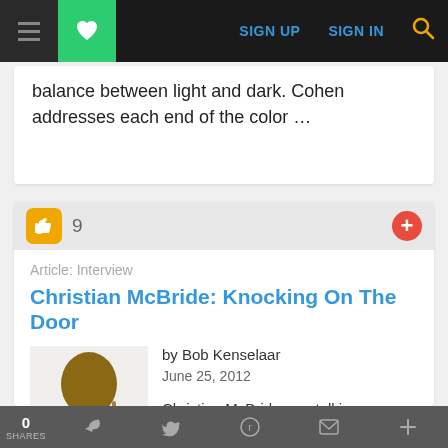SIGN UP  SIGN IN  [search]
balance between light and dark. Cohen addresses each end of the color …
Article: Interview
Christian McBride: Knocking On The Door
by Bob Kenselaar
June 25, 2012
Christian McBride was talking about the Grammy he received in
0 SHARES  [facebook] [twitter] [reddit] [email] [plus]